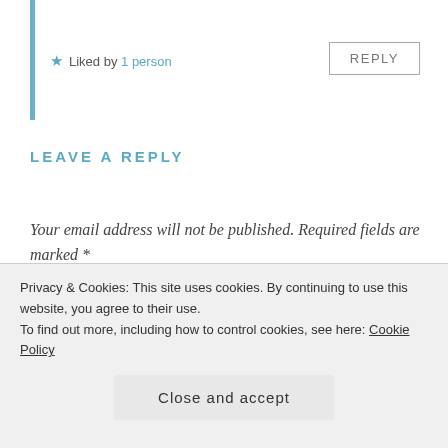★ Liked by 1 person
REPLY
LEAVE A REPLY
Your email address will not be published. Required fields are marked *
COMMENT *
Privacy & Cookies: This site uses cookies. By continuing to use this website, you agree to their use.
To find out more, including how to control cookies, see here: Cookie Policy
Close and accept